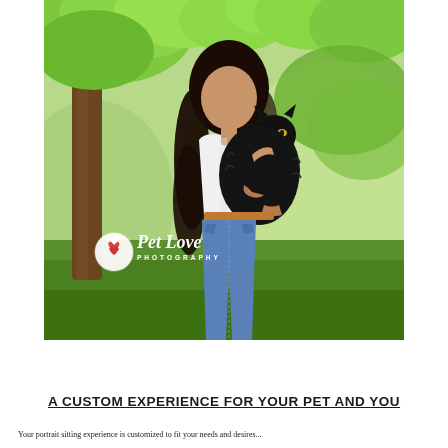[Figure (photo): A young woman with long curly dark hair wearing a white t-shirt and jeans, holding a large black fluffy cat. She is standing outdoors in a park-like setting with green trees and grass. A watermark reading 'Pet Love Photography' with a heart logo is visible on the photo.]
A CUSTOM EXPERIENCE FOR YOUR PET AND YOU
Your portrait sitting experience is customized to fit your needs and desires...